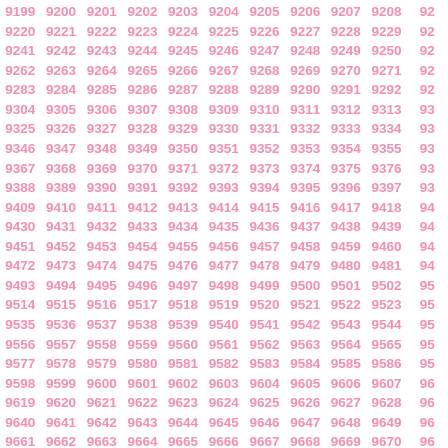Grid of numbers from 9199 to 9712, arranged in rows of approximately 11 columns, in pink/salmon color